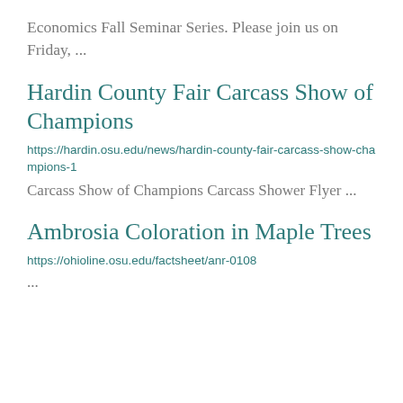Economics Fall Seminar Series. Please join us on Friday, ...
Hardin County Fair Carcass Show of Champions
https://hardin.osu.edu/news/hardin-county-fair-carcass-show-champions-1
Carcass Show of Champions Carcass Shower Flyer ...
Ambrosia Coloration in Maple Trees
https://ohioline.osu.edu/factsheet/anr-0108
...